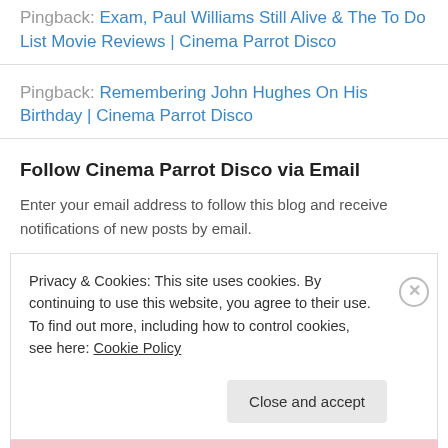Pingback: Exam, Paul Williams Still Alive & The To Do List Movie Reviews | Cinema Parrot Disco
Pingback: Remembering John Hughes On His Birthday | Cinema Parrot Disco
Follow Cinema Parrot Disco via Email
Enter your email address to follow this blog and receive notifications of new posts by email.
Privacy & Cookies: This site uses cookies. By continuing to use this website, you agree to their use.
To find out more, including how to control cookies, see here: Cookie Policy